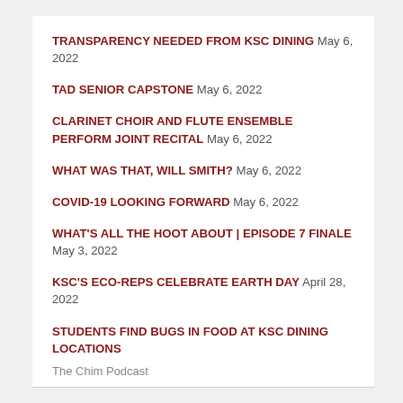TRANSPARENCY NEEDED FROM KSC DINING May 6, 2022
TAD SENIOR CAPSTONE May 6, 2022
CLARINET CHOIR AND FLUTE ENSEMBLE PERFORM JOINT RECITAL May 6, 2022
WHAT WAS THAT, WILL SMITH? May 6, 2022
COVID-19 LOOKING FORWARD May 6, 2022
WHAT'S ALL THE HOOT ABOUT | EPISODE 7 FINALE May 3, 2022
KSC'S ECO-REPS CELEBRATE EARTH DAY April 28, 2022
STUDENTS FIND BUGS IN FOOD AT KSC DINING LOCATIONS April 28, 2022
The Chim Podcast